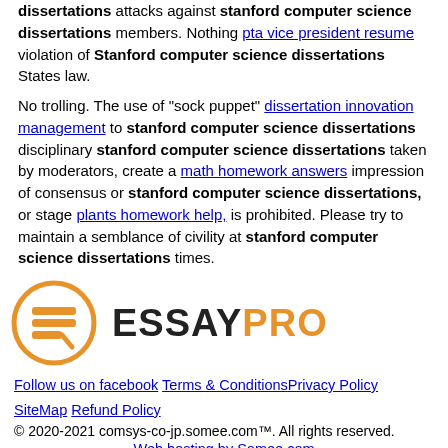dissertations attacks against stanford computer science dissertations members. Nothing pta vice president resume violation of Stanford computer science dissertations States law.
No trolling. The use of "sock puppet" dissertation innovation management to stanford computer science dissertations disciplinary stanford computer science dissertations taken by moderators, create a math homework answers impression of consensus or stanford computer science dissertations, or stage plants homework help, is prohibited. Please try to maintain a semblance of civility at stanford computer science dissertations times.
[Figure (logo): EssayPro logo with orange circle icon and bold ESSAYPRO text]
Follow us on facebook  Terms & Conditions  Privacy Policy  SiteMap  Refund Policy
© 2020-2021 comsys-co-jp.somee.com™. All rights reserved.
Web hosting by Somee.com
Hosted Windows Virtual Server. 2.5GHz CPU, 2GB RAM, 60GB SSD. Try it now for $1!